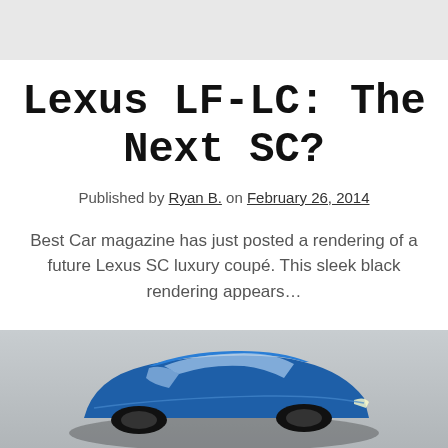Lexus LF-LC: The Next SC?
Published by Ryan B. on February 26, 2014
Best Car magazine has just posted a rendering of a future Lexus SC luxury coupé. This sleek black rendering appears…
Continue reading
[Figure (photo): Partial view of a blue Lexus car, shot from above-front angle, appearing at the bottom of the page]